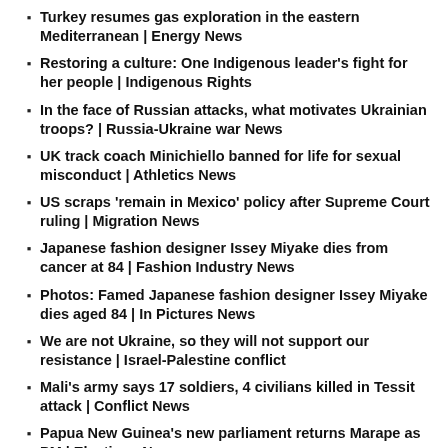Turkey resumes gas exploration in the eastern Mediterranean | Energy News
Restoring a culture: One Indigenous leader's fight for her people | Indigenous Rights
In the face of Russian attacks, what motivates Ukrainian troops? | Russia-Ukraine war News
UK track coach Minichiello banned for life for sexual misconduct | Athletics News
US scraps 'remain in Mexico' policy after Supreme Court ruling | Migration News
Japanese fashion designer Issey Miyake dies from cancer at 84 | Fashion Industry News
Photos: Famed Japanese fashion designer Issey Miyake dies aged 84 | In Pictures News
We are not Ukraine, so they will not support our resistance | Israel-Palestine conflict
Mali's army says 17 soldiers, 4 civilians killed in Tessit attack | Conflict News
Papua New Guinea's new parliament returns Marape as PM | Elections News
Israeli forces kill al-Aqsa Brigades commander in